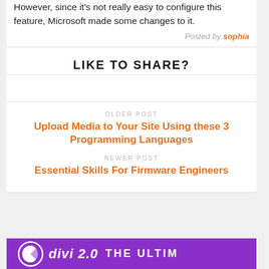However, since it's not really easy to configure this feature, Microsoft made some changes to it.
Posted by sophia
LIKE TO SHARE?
OLDER POST
Upload Media to Your Site Using these 3 Programming Languages
NEWER POST
Essential Skills For Firmware Engineers
[Figure (illustration): Purple banner with Divi 2.0 logo and THE ULTIM text in white on purple background]